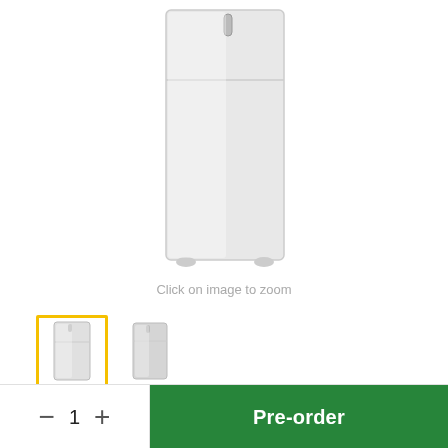[Figure (photo): Main product image of a DENKA upright refrigerator/freezer, white, top-mount, front view showing the appliance against a white background.]
Click on image to zoom
[Figure (photo): Selected thumbnail showing front view of DENKA top mount freezer with yellow border indicating selection.]
[Figure (photo): Second thumbnail showing a slightly different angle of the DENKA top mount freezer.]
DENKA Top Mount Freezer 430L Direct Cool
Pre-order